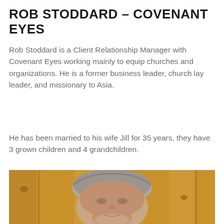ROB STODDARD – COVENANT EYES
Rob Stoddard is a Client Relationship Manager with Covenant Eyes working mainly to equip churches and organizations. He is a former business leader, church lay leader, and missionary to Asia.
He has been married to his wife Jill for 35 years, they have 3 grown children and 4 grandchildren.
[Figure (photo): Headshot photo of Rob Stoddard, a middle-aged man with gray hair and light stubble, smiling slightly, in front of a wood-paneled wall background.]